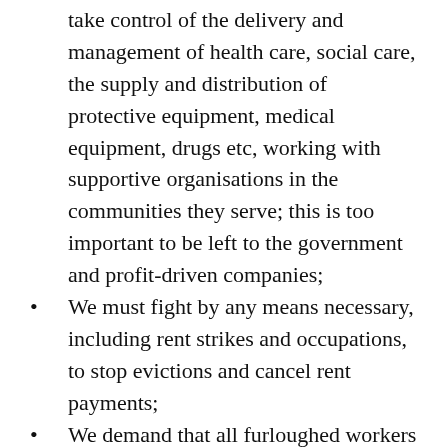take control of the delivery and management of health care, social care, the supply and distribution of protective equipment, medical equipment, drugs etc, working with supportive organisations in the communities they serve; this is too important to be left to the government and profit-driven companies;
We must fight by any means necessary, including rent strikes and occupations, to stop evictions and cancel rent payments;
We demand that all furloughed workers receive 100% of their pay; where conditions make it safe to work, we must oppose redundancies and fight for the available work to be shared between workers on the